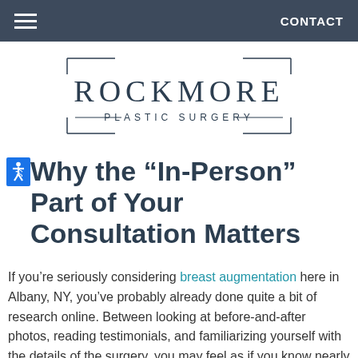CONTACT
[Figure (logo): Rockmore Plastic Surgery logo with decorative rectangular border lines]
Why the “In-Person” Part of Your Consultation Matters
If you’re seriously considering breast augmentation here in Albany, NY, you’ve probably already done quite a bit of research online. Between looking at before-and-after photos, reading testimonials, and familiarizing yourself with the details of the surgery, you may feel as if you know nearly everything there is to know about breast augmentation.